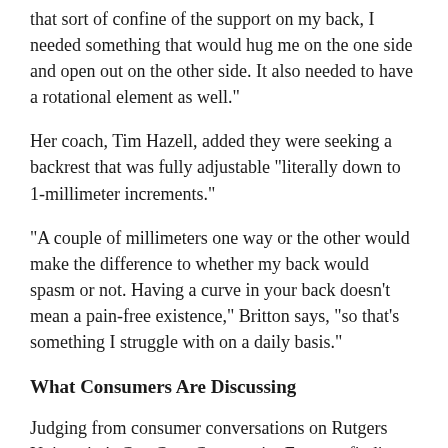that sort of confine of the support on my back, I needed something that would hug me on the one side and open out on the other side. It also needed to have a rotational element as well."
Her coach, Tim Hazell, added they were seeking a backrest that was fully adjustable "literally down to 1-millimeter increments."
"A couple of millimeters one way or the other would make the difference to whether my back would spasm or not. Having a curve in your back doesn't mean a pain-free existence," Britton says, "so that's something I struggle with on a daily basis."
What Consumers Are Discussing
Judging from consumer conversations on Rutgers University's CareCure Community Forums, finding the "right" wheelchair back requires a very personalized